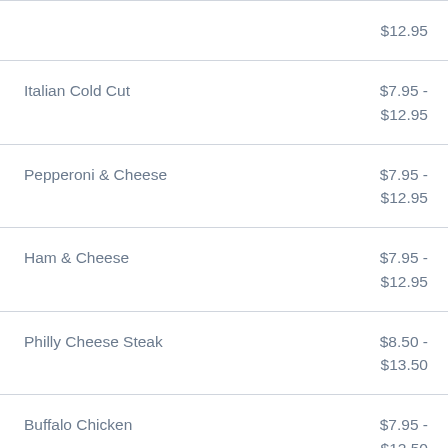| Item | Price |
| --- | --- |
|  | $12.95 |
| Italian Cold Cut | $7.95 - $12.95 |
| Pepperoni & Cheese | $7.95 - $12.95 |
| Ham & Cheese | $7.95 - $12.95 |
| Philly Cheese Steak | $8.50 - $13.50 |
| Buffalo Chicken | $7.95 - $12.50 |
| Chicken, Broccoli & Cheese | $7.50 - |